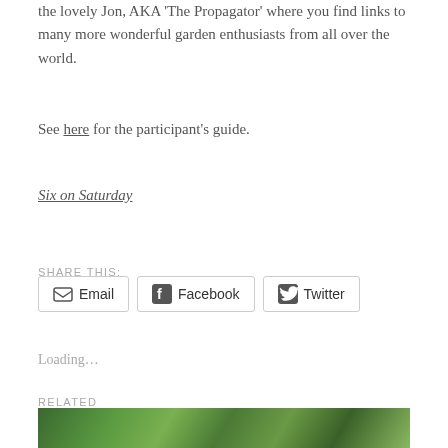the lovely Jon, AKA 'The Propagator' where you find links to many more wonderful garden enthusiasts from all over the world.
See here for the participant's guide.
Six on Saturday
SHARE THIS:
Email  Facebook  Twitter
Loading...
RELATED
[Figure (photo): Green garden photo strip at bottom of page]